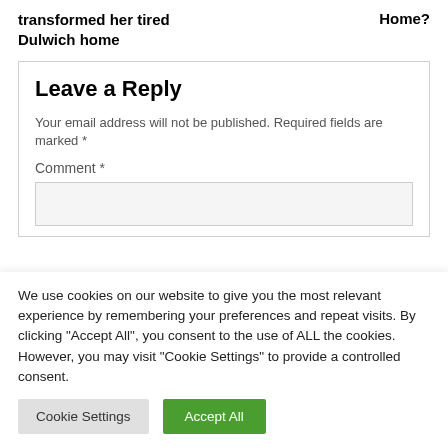transformed her tired
Dulwich home
Home?
Leave a Reply
Your email address will not be published. Required fields are marked *
Comment *
We use cookies on our website to give you the most relevant experience by remembering your preferences and repeat visits. By clicking "Accept All", you consent to the use of ALL the cookies. However, you may visit "Cookie Settings" to provide a controlled consent.